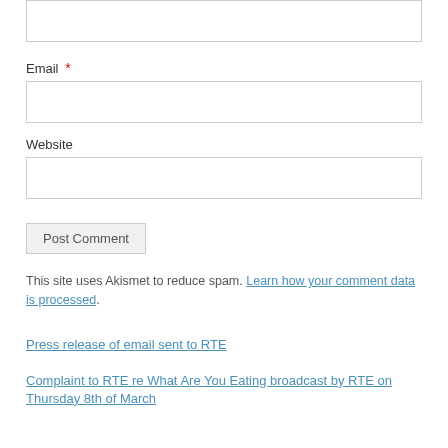[Figure (screenshot): A partial web form input box (top of page, cropped)]
Email *
Website
Post Comment
This site uses Akismet to reduce spam. Learn how your comment data is processed.
Press release of email sent to RTE
Complaint to RTE re What Are You Eating broadcast by RTE on Thursday 8th of March